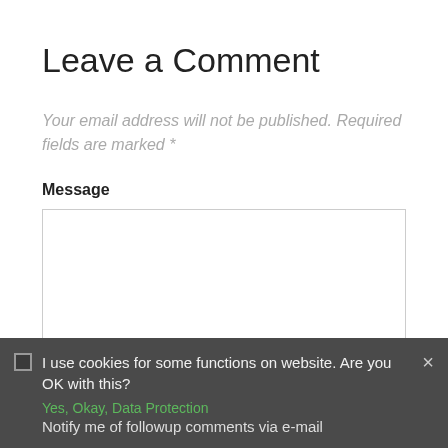Leave a Comment
Your email address will not be published. Required fields are marked *
Message
[Figure (screenshot): Empty textarea input box for message entry]
I use cookies for some functions on website. Are you OK with this?
Yes, Okay, Data Protection
Notify me of followup comments via e-mail